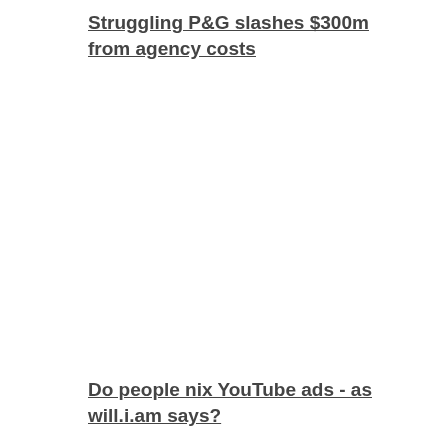Struggling P&G slashes $300m from agency costs
Do people nix YouTube ads - as will.i.am says?